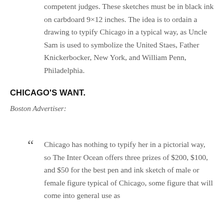competent judges. These sketches must be in black ink on carbdoard 9×12 inches. The idea is to ordain a drawing to typify Chicago in a typical way, as Uncle Sam is used to symbolize the United Staes, Father Knickerbocker, New York, and William Penn, Philadelphia.
CHICAGO'S WANT.
Boston Advertiser:
" Chicago has nothing to typify her in a pictorial way, so The Inter Ocean offers three prizes of $200, $100, and $50 for the best pen and ink sketch of male or female figure typical of Chicago, some figure that will come into general use as